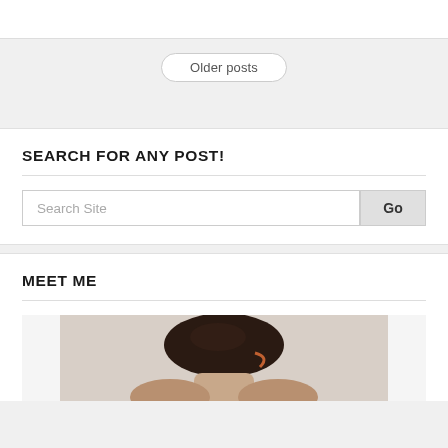Older posts
SEARCH FOR ANY POST!
Search Site
Go
MEET ME
[Figure (photo): Partial photo showing top of person's head with dark hair against a light/beige background]